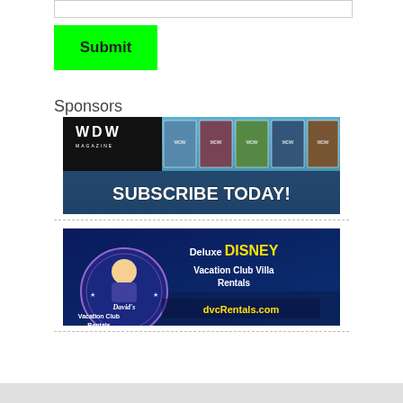[Figure (screenshot): A text input field (form element)]
[Figure (screenshot): A bright green Submit button with dark text]
Sponsors
[Figure (illustration): WDW Magazine advertisement banner with magazine covers and text 'SUBSCRIBE TODAY!']
[Figure (illustration): David's Vacation Club Rentals advertisement for Deluxe Disney Vacation Club Villa Rentals, dvcRentals.com]